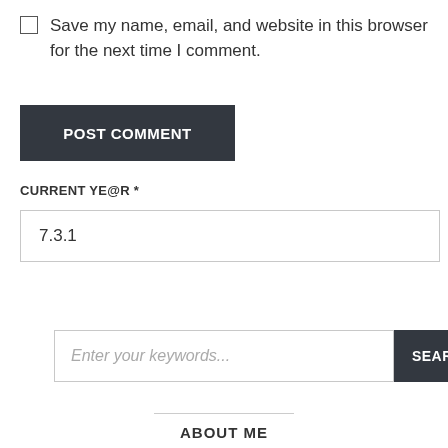Save my name, email, and website in this browser for the next time I comment.
POST COMMENT
CURRENT YE@R *
7.3.1
Enter your keywords...
SEARCH
ABOUT ME